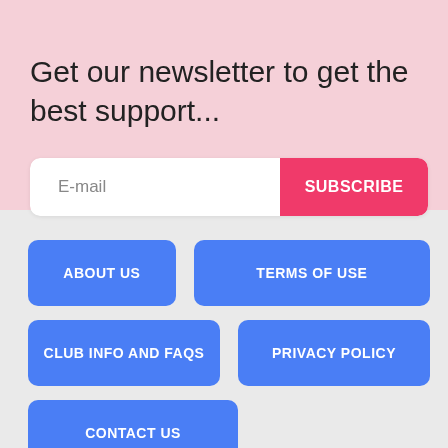Get our newsletter to get the best support...
E-mail
SUBSCRIBE
ABOUT US
TERMS OF USE
CLUB INFO AND FAQS
PRIVACY POLICY
CONTACT US